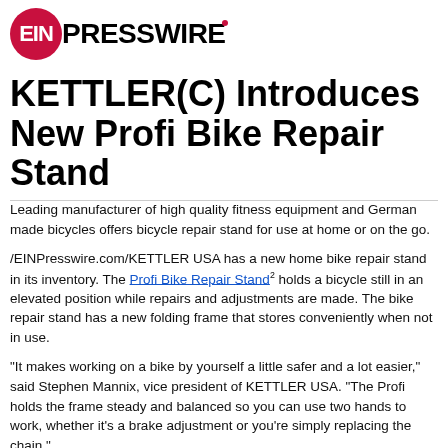EINPresswire
KETTLER(C) Introduces New Profi Bike Repair Stand
Leading manufacturer of high quality fitness equipment and German made bicycles offers bicycle repair stand for use at home or on the go.
/EINPresswire.com/KETTLER USA has a new home bike repair stand in its inventory. The Profi Bike Repair Stand2 holds a bicycle still in an elevated position while repairs and adjustments are made. The bike repair stand has a new folding frame that stores conveniently when not in use.
"It makes working on a bike by yourself a little safer and a lot easier," said Stephen Mannix, vice president of KETTLER USA. "The Profi holds the frame steady and balanced so you can use two hands to work, whether it's a brake adjustment or you're simply replacing the chain."
The new KETTLER(C) Profi Bike Repair Stand has an adjustable height and clamp position that can be used for nearly any type of bicycle frame shape or size, from kids bikes to commuter bicycles1. The new 360-degree Kettler Klamping System™ extends from 44 to 56 inches high for a more ergonomic work position and holds bikes up to 65 pounds. The Profi is sturdy enough for e-bikes3 and carbon fiber